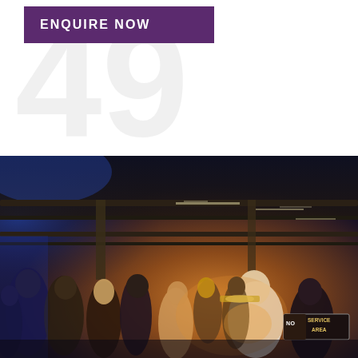[Figure (logo): Purple 'ENQUIRE NOW' button in top left, with large watermark numbers '49' in light grey behind it on white background]
[Figure (photo): Crowded indoor venue/bar with warm orange lighting, people socializing, exposed ceiling beams, blue accent lighting, a 'NO SERVICE AREA' sign visible on the right side]